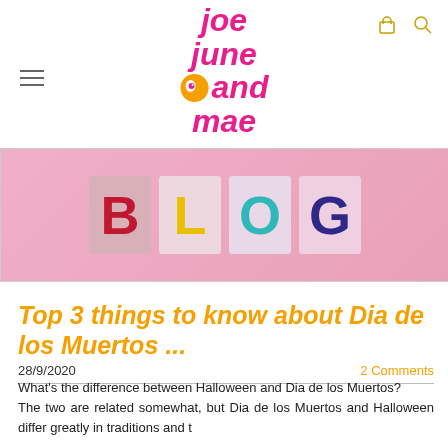Joe June and Mae — blog website header with logo
[Figure (photo): Pink felt squares with colorful block letters spelling BLOG]
Top 3 things to know about Dia de los Muertos ...
28/9/2020   2 Comments
What's the difference between Halloween and Dia de los Muertos? The two are related somewhat, but Dia de los Muertos and Halloween differ greatly in traditions and t...